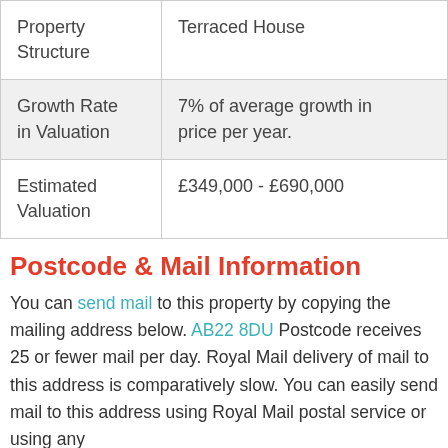| Property Structure | Terraced House |
| Growth Rate in Valuation | 7% of average growth in price per year. |
| Estimated Valuation | £349,000 - £690,000 |
Postcode & Mail Information
You can send mail to this property by copying the mailing address below. AB22 8DU Postcode receives 25 or fewer mail per day. Royal Mail delivery of mail to this address is comparatively slow. You can easily send mail to this address using Royal Mail postal service or using any